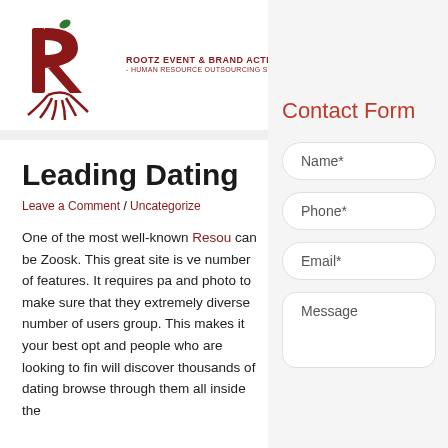[Figure (logo): Rootz Event & Brand Activation Pvt Ltd logo with stylized red R and roots, text ROOTZ EVENT & BRAND ACTIVATION PVT LTD - HUMAN RESOURCE OUTSOURCING SER]
Leading Dating
Leave a Comment / Uncategorize
One of the most well-known Resou can be Zoosk. This great site is ve number of features. It requires pa and photo to make sure that they extremely diverse number of users group. This makes it your best opt and people who are looking to fin will discover thousands of dating browse through them all inside the
Contact Form
Name*
Phone*
Email*
Message